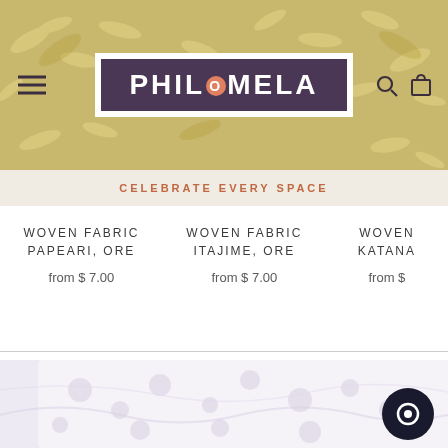[Figure (screenshot): Philomela website header with decorative bird/floral pattern background in gold and cream tones, hamburger menu icon on left, Philomela logo in purple box with decorative O in center, search and cart icons on right]
CELEBRATE EVERY SPACE
WOVEN FABRIC PAPEARI, ORE
from $ 7.00
WOVEN FABRIC ITAJIME, ORE
from $ 7.00
WOVEN KATANA
from $
[Figure (photo): Close-up photo of white/cream lace and floral fabric with a pink flower accent, soft and ethereal styling on a light background, with a dark circular chat button overlay in the bottom right]